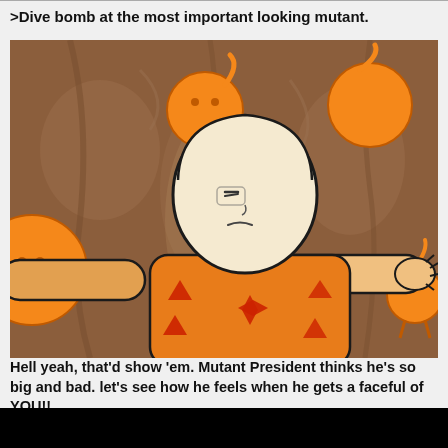>Dive bomb at the most important looking mutant.
[Figure (illustration): Cartoon illustration of a white-haired character in an orange patterned shirt with arms outstretched in a dive-bomb pose, surrounded by orange mutant blob creatures with tendrils against a brown background.]
Hell yeah, that'd show 'em. Mutant President thinks he's so big and bad. let's see how he feels when he gets a faceful of YOU!!